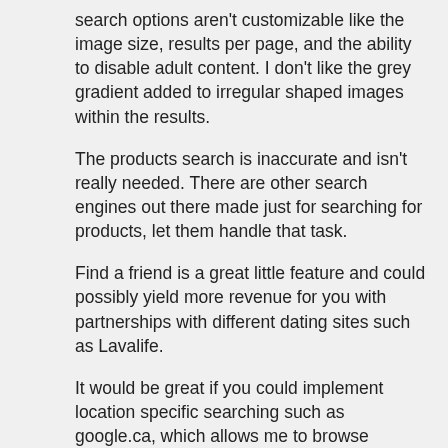search options aren't customizable like the image size, results per page, and the ability to disable adult content. I don't like the grey gradient added to irregular shaped images within the results.
The products search is inaccurate and isn't really needed. There are other search engines out there made just for searching for products, let them handle that task.
Find a friend is a great little feature and could possibly yield more revenue for you with partnerships with different dating sites such as Lavalife.
It would be great if you could implement location specific searching such as google.ca, which allows me to browse Canadian search results.
Maybe you could incorporate a blog searching tab that allows you to search for terms in daily blogs.
Overall, I think you and/or the creator's of the site are in for a helluva workload trying to take on two giants, Google and Yahoo. It's not a wise move in business to